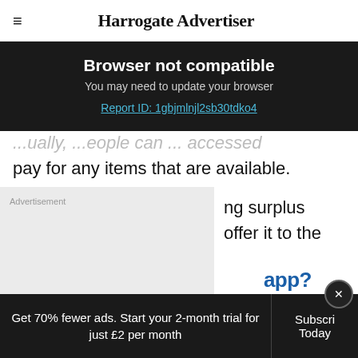☰  Harrogate Advertiser
Browser not compatible
You may need to update your browser
Report ID: 1gbjmlnjl2sb30tdko4
pay for any items that are available.
[Figure (other): Advertisement placeholder box]
ng surplus offer it to the
Get 70% fewer ads. Start your 2-month trial for just £2 per month
Subscribe Today